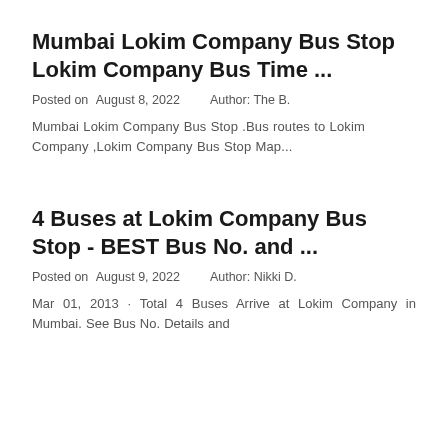Mumbai Lokim Company Bus Stop Lokim Company Bus Time ...
Posted on  August 8, 2022     Author: The B.
Mumbai Lokim Company Bus Stop .Bus routes to Lokim Company ,Lokim Company Bus Stop Map...
4 Buses at Lokim Company Bus Stop - BEST Bus No. and ...
Posted on  August 9, 2022     Author: Nikki D.
Mar 01, 2013 · Total 4 Buses Arrive at Lokim Company in Mumbai. See Bus No. Details and